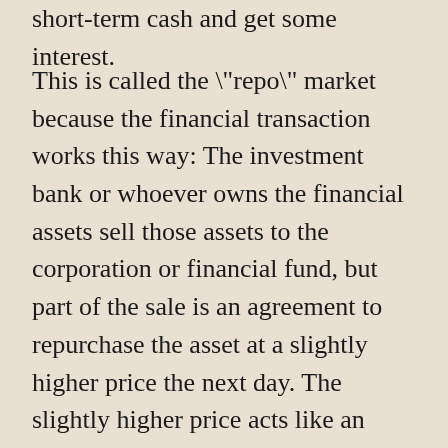short-term cash and get some interest.
This is called the "repo" market because the financial transaction works this way: The investment bank or whoever owns the financial assets sell those assets to the corporation or financial fund, but part of the sale is an agreement to repurchase the asset at a slightly higher price the next day. The slightly higher price acts like an interest rate paid for borrowing. Now imagine that this transaction is repeated every day. The result is that the borrower has some amount that is continually being borrowed–that is, it is continually selling assets every day and buying them the next day. On the other side, the lender is receiving a steady stream of payments for their cash–that is, it is